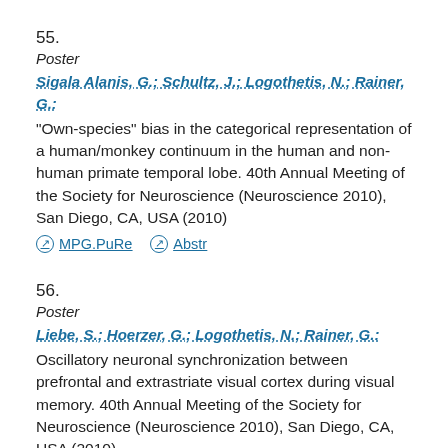55.
Poster
Sigala Alanis, G.; Schultz, J.; Logothetis, N.; Rainer, G.: "Own-species" bias in the categorical representation of a human/monkey continuum in the human and non-human primate temporal lobe. 40th Annual Meeting of the Society for Neuroscience (Neuroscience 2010), San Diego, CA, USA (2010)
⊙ MPG.PuRe  ⊙ Abstr
56.
Poster
Liebe, S.; Hoerzer, G.; Logothetis, N.; Rainer, G.: Oscillatory neuronal synchronization between prefrontal and extrastriate visual cortex during visual memory. 40th Annual Meeting of the Society for Neuroscience (Neuroscience 2010), San Diego, CA, USA (2010)